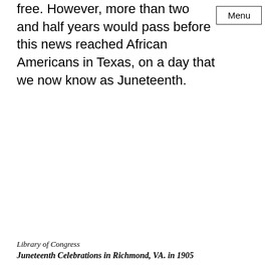free. However, more than two and half years would pass before this news reached African Americans in Texas, on a day that we now know as Juneteenth.
Library of Congress
Juneteenth Celebrations in Richmond, VA. in 1905